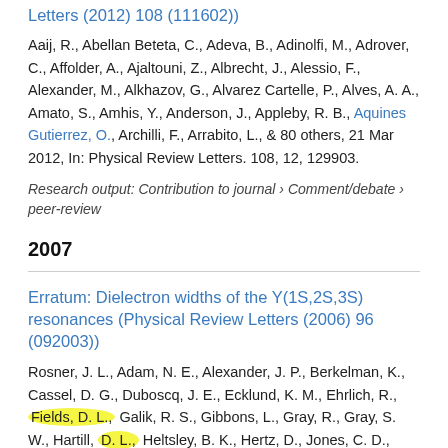Letters (2012) 108 (111602))
Aaij, R., Abellan Beteta, C., Adeva, B., Adinolfi, M., Adrover, C., Affolder, A., Ajaltouni, Z., Albrecht, J., Alessio, F., Alexander, M., Alkhazov, G., Alvarez Cartelle, P., Alves, A. A., Amato, S., Amhis, Y., Anderson, J., Appleby, R. B., Aquines Gutierrez, O., Archilli, F., Arrabito, L., & 80 others, 21 Mar 2012, In: Physical Review Letters. 108, 12, 129903.
Research output: Contribution to journal › Comment/debate › peer-review
2007
Erratum: Dielectron widths of the Y(1S,2S,3S) resonances (Physical Review Letters (2006) 96 (092003))
Rosner, J. L., Adam, N. E., Alexander, J. P., Berkelman, K., Cassel, D. G., Duboscq, J. E., Ecklund, K. M., Ehrlich, R., Fields, D. L., Galik, R. S., Gibbons, L., Gray, R., Gray, S. W., Hartill, D. L., Heltsley, B. K., Hertz, D., Jones, C. D., Kandaswamy, J., Kreinick, D., Kuznetsov, V. E., & 30 others, 30 Sep 2007, In: Physical Review...